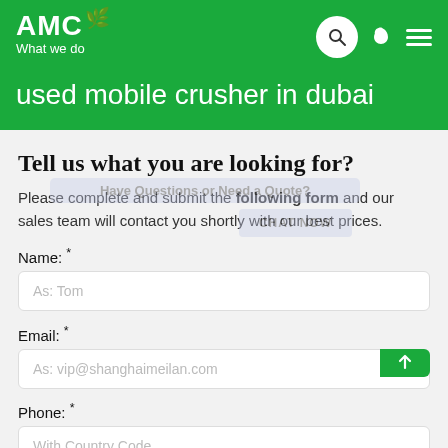AMC What we do
used mobile crusher in dubai
Tell us what you are looking for?
Please complete and submit the following form and our sales team will contact you shortly with our best prices.
Name: *
As: Tom
Email: *
As: vip@shanghaimeilan.com
Phone: *
With Country Code